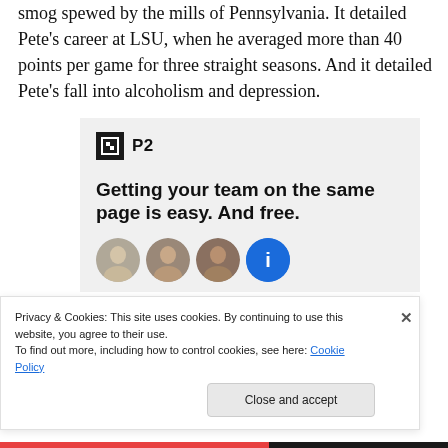smog spewed by the mills of Pennsylvania. It detailed Pete's career at LSU, when he averaged more than 40 points per game for three straight seasons. And it detailed Pete's fall into alcoholism and depression.
[Figure (screenshot): Advertisement for P2 workspace product. Shows a dark square logo icon with 'P2' text beside it, followed by bold tagline 'Getting your team on the same page is easy. And free.' Below are four circular avatar images of people, the last being a blue circle with a plus/info icon.]
Privacy & Cookies: This site uses cookies. By continuing to use this website, you agree to their use.
To find out more, including how to control cookies, see here: Cookie Policy
Close and accept